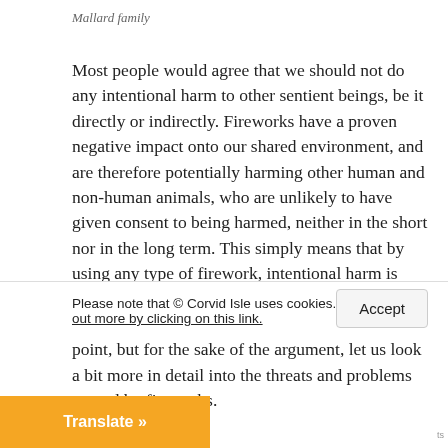Mallard family
Most people would agree that we should not do any intentional harm to other sentient beings, be it directly or indirectly. Fireworks have a proven negative impact onto our shared environment, and are therefore potentially harming other human and non-human animals, who are unlikely to have given consent to being harmed, neither in the short nor in the long term. This simply means that by using any type of firework, intentional harm is being done to others, which is ethically not justifiable. Therefore we could actually stop at this point, but for the sake of the argument, let us look a bit more in detail into the threats and problems caused by fireworks.
Please note that © Corvid Isle uses cookies. Find out more by clicking on this link.
Accept
Translate »